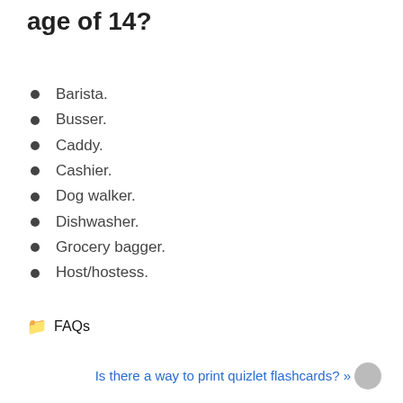age of 14?
Barista.
Busser.
Caddy.
Cashier.
Dog walker.
Dishwasher.
Grocery bagger.
Host/hostess.
📁 FAQs
Is there a way to print quizlet flashcards? »